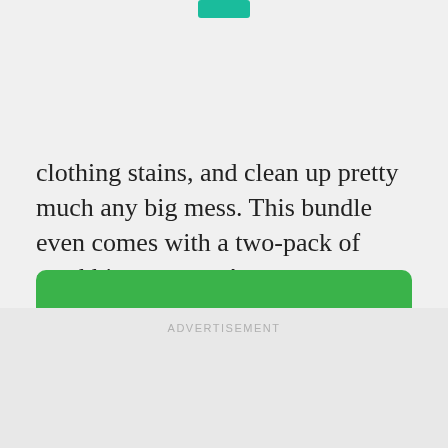clothing stains, and clean up pretty much any big mess. This bundle even comes with a two-pack of scrubbing sponges!
VIEW ON AMAZON
ADVERTISEMENT